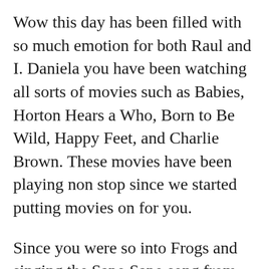Wow this day has been filled with so much emotion for both Raul and I. Daniela you have been watching all sorts of movies such as Babies, Horton Hears a Who, Born to Be Wild, Happy Feet, and Charlie Brown. These movies have been playing non stop since we started putting movies on for you.
Since you were so into Frogs and singing the Sapo Sapo song from Atencion Atencion, we celebrated your birthday with frogs! I cut out lilly pads, we both